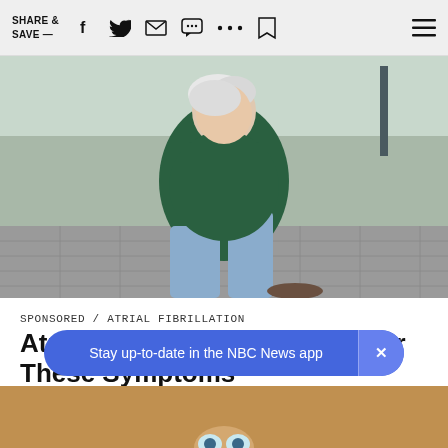SHARE & SAVE —
[Figure (photo): Elderly man with white hair clutching his chest in pain, kneeling on a brick plaza outdoors, wearing a dark green short-sleeve shirt and jeans.]
SPONSORED / ATRIAL FIBRILLATION
Atrial Fibrillation: Look Out For These Symptoms
[Figure (photo): Partial view of a person's face at the bottom of the page, partially cut off.]
Stay up-to-date in the NBC News app